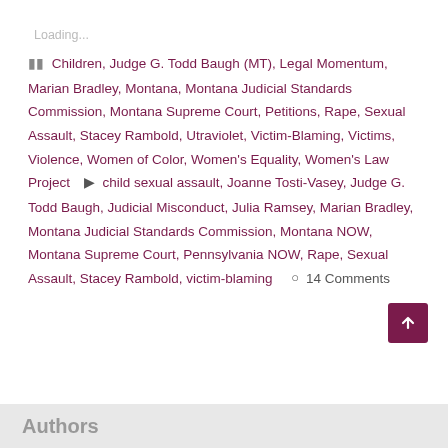Loading...
Children, Judge G. Todd Baugh (MT), Legal Momentum, Marian Bradley, Montana, Montana Judicial Standards Commission, Montana Supreme Court, Petitions, Rape, Sexual Assault, Stacey Rambold, Utraviolet, Victim-Blaming, Victims, Violence, Women of Color, Women's Equality, Women's Law Project  child sexual assault, Joanne Tosti-Vasey, Judge G. Todd Baugh, Judicial Misconduct, Julia Ramsey, Marian Bradley, Montana Judicial Standards Commission, Montana NOW, Montana Supreme Court, Pennsylvania NOW, Rape, Sexual Assault, Stacey Rambold, victim-blaming   14 Comments
Authors